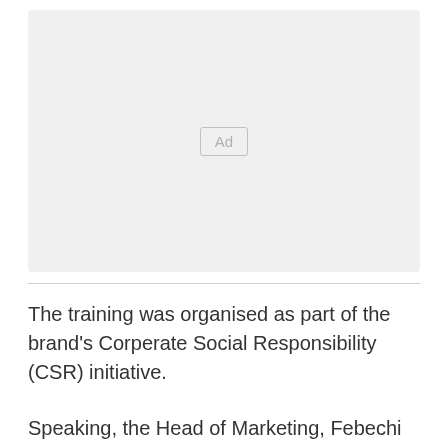[Figure (other): Advertisement placeholder box with 'Ad' label in center]
The training was organised as part of the brand’s Corperate Social Responsibility (CSR) initiative.
Speaking, the Head of Marketing, Febechi